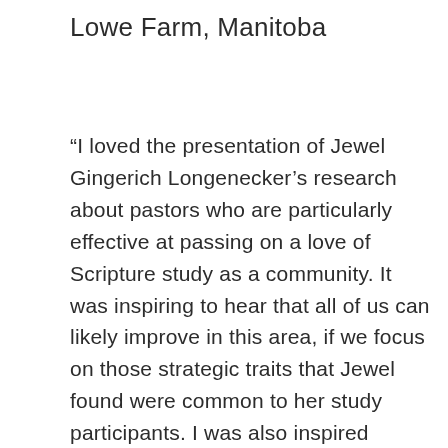Lowe Farm, Manitoba
“I loved the presentation of Jewel Gingerich Longenecker’s research about pastors who are particularly effective at passing on a love of Scripture study as a community. It was inspiring to hear that all of us can likely improve in this area, if we focus on those strategic traits that Jewel found were common to her study participants. I was also inspired